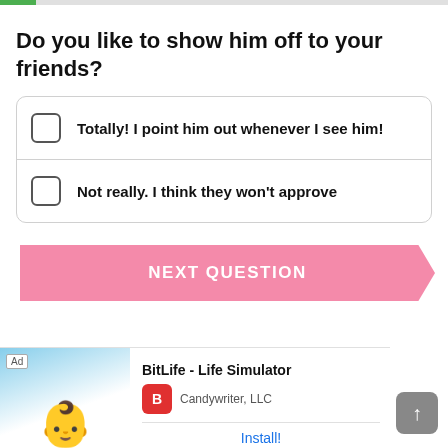Do you like to show him off to your friends?
Totally! I point him out whenever I see him!
Not really. I think they won't approve
NEXT QUESTION
Ad
BitLife - Life Simulator
Candywriter, LLC
Install!